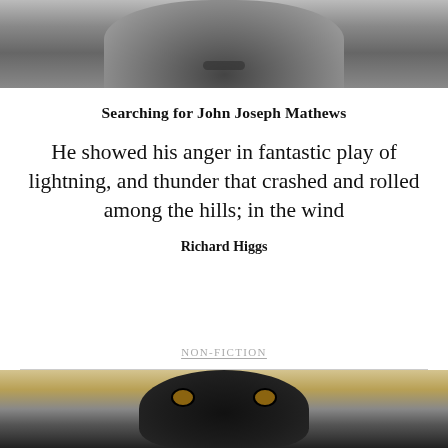[Figure (photo): Black and white photograph of a person's face, cropped to show lower portion]
Searching for John Joseph Mathews
He showed his anger in fantastic play of lightning, and thunder that crashed and rolled among the hills; in the wind
Richard Higgs
NON-FICTION
[Figure (photo): Color photograph of a dark-colored dog (appears to be a German Shepherd or similar breed) in a field with dry grass]